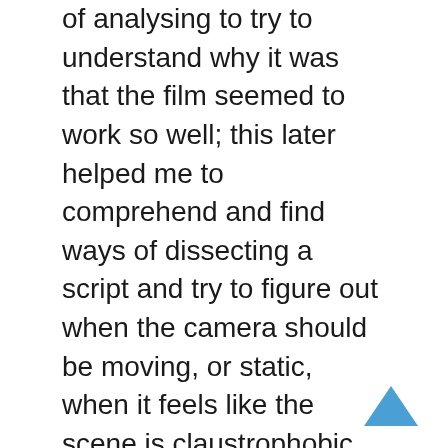of analysing to try to understand why it was that the film seemed to work so well; this later helped me to comprehend and find ways of dissecting a script and try to figure out when the camera should be moving, or static, when it feels like the scene is claustrophobic. For me this is critical and has become a tool and reference for making choices on my later films
Rich Moore thought it was a really great collaboration, so we got together 2-3 times after that and I brought in all my reference photos of different sets and different moods, which I thought were appropriate